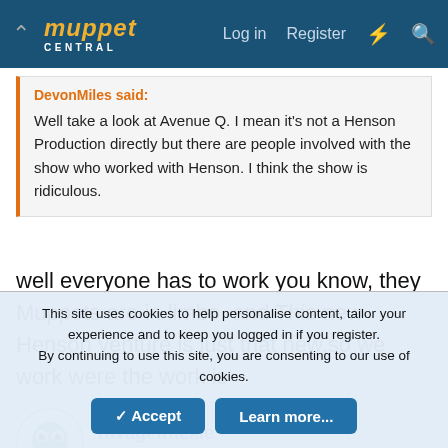Muppet Central — Log in  Register
DevonMiles said:
Well take a look at Avenue Q. I mean it's not a Henson Production directly but there are people involved with the show who worked with Henson. I think the show is ridiculous.
well everyone has to work you know, they Muppets are in limbo, and This new Henson venture is just that new,so we work were the work is
ravagefrackle
Well-Known Member
This site uses cookies to help personalise content, tailor your experience and to keep you logged in if you register.
By continuing to use this site, you are consenting to our use of cookies.
✓ Accept   Learn more...